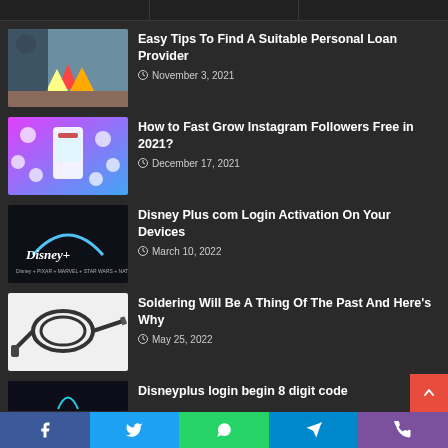[Figure (screenshot): Dark-themed blog/news website listing articles with thumbnails]
Easy Tips To Find A Suitable Personal Loan Provider
November 3, 2021
How to Fast Grow Instagram Followers Free in 2021?
December 17, 2021
Disney Plus com Login Activation On Your Devices
March 10, 2022
Soldering Will Be A Thing Of The Past And Here's Why
May 25, 2022
Disneyplus login begin 8 digit code